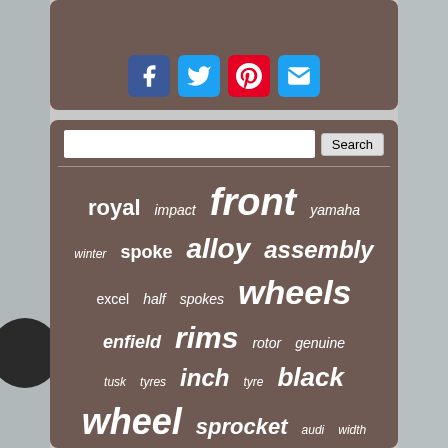[Figure (screenshot): Social media sharing icons: Facebook (blue), Twitter (blue), Pinterest (red), Email (blue) on brown/taupe panel]
[Figure (infographic): Tag cloud / word cloud on brown/taupe background with words: royal, impact, front, yamaha, winter, spoke, alloy, assembly, excel, half, spokes, wheels, enfield, rims, rotor, genuine, tusk, tyres, inch, tyre, black, wheel, sprocket, audi, width, mercedes, tires, silver, complete, tire, suzuki]